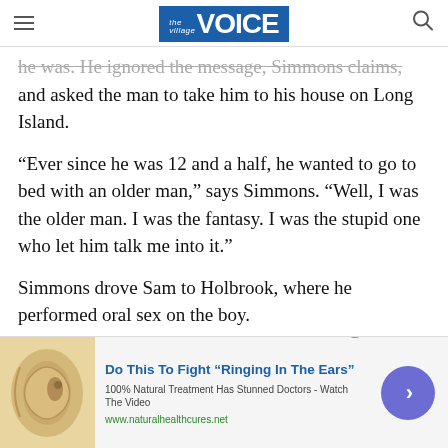the Village VOICE
he was. He ignored the message, Simmons claims, and asked the man to take him to his house on Long Island.
“Ever since he was 12 and a half, he wanted to go to bed with an older man,” says Simmons. “Well, I was the older man. I was the fantasy. I was the stupid one who let him talk me into it.”
Simmons drove Sam to Holbrook, where he performed oral sex on the boy.
[Figure (infographic): Advertisement banner: 'Do This To Fight "Ringing In The Ears"' - 100% Natural Treatment Has Stunned Doctors - Watch The Video. www.naturalhealthcures.net. Shows an anatomical ear image on the left and a blue circular play button on the right.]